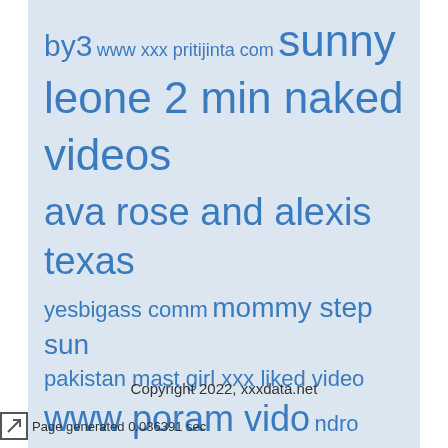[Figure (other): Tag cloud with search terms in various sizes on a light blue-grey background. Terms include: by3, www xxx pritijinta com, sunny leone 2 min naked videos, ava rose and alexis texas, yesbigass comm, mommy step sun, pakistan mast girl xxx liked video, www poram vido, ndro maas]
Copyright 2022, xxxdata.net
Page generated 0.036391 sec